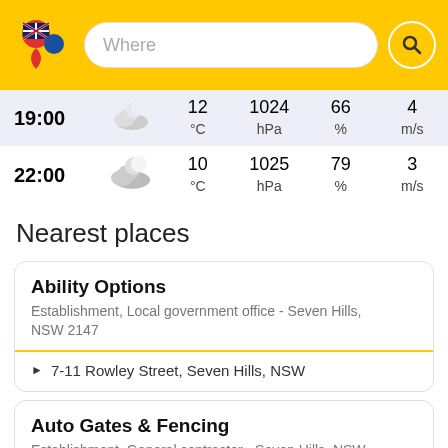[Figure (screenshot): Yellow top navigation bar with map pin logo (Australian flag), 'Where' search input box, and search button icon]
| Time | Icon | Temp | Pressure | Humidity | Wind |
| --- | --- | --- | --- | --- | --- |
| 19:00 | (icon) | 12 °C | 1024 hPa | 66 % | 4 m/s |
| 22:00 | (icon) | 10 °C | 1025 hPa | 79 % | 3 m/s |
Nearest places
Ability Options
Establishment, Local government office - Seven Hills, NSW 2147
7-11 Rowley Street, Seven Hills, NSW
Auto Gates & Fencing
Establishment, General contractor - Seven Hills, NSW 2147